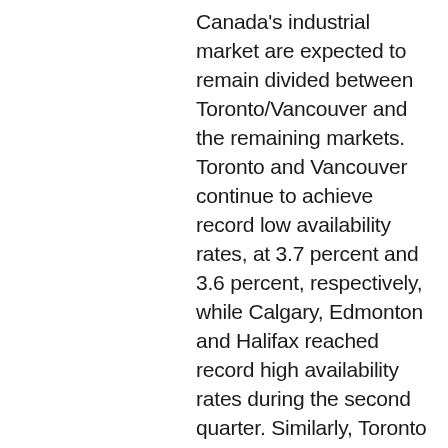Canada's industrial market are expected to remain divided between Toronto/Vancouver and the remaining markets. Toronto and Vancouver continue to achieve record low availability rates, at 3.7 percent and 3.6 percent, respectively, while Calgary, Edmonton and Halifax reached record high availability rates during the second quarter. Similarly, Toronto and Vancouver together had a total of 4.4 million square feet of positive net absorption in second quarter 2016, while the remaining markets collaboratively posted 3.3 million square fee of negative net absorption. Transportation and warehousing are expected to remain the most active industries alongside a growing e-